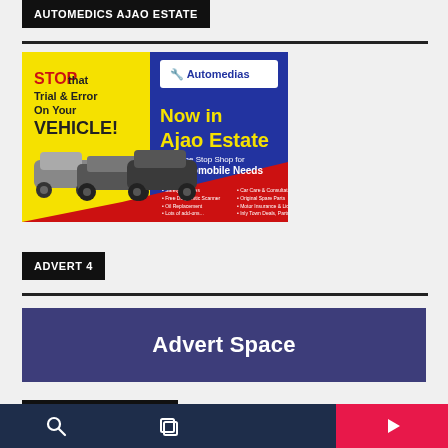AUTOMEDICS AJAO ESTATE
[Figure (illustration): Automedics Ajao Estate advertisement showing cars and text: STOP that Trial & Error On Your VEHICLE!, Now in Ajao Estate, Your One Stop Shop for All Automobile Needs]
ADVERT 4
[Figure (other): Advert Space banner with dark blue/purple background and white bold text reading 'Advert Space']
BROADSTREET RADIO
Navigation bar with search, layers, and play icons